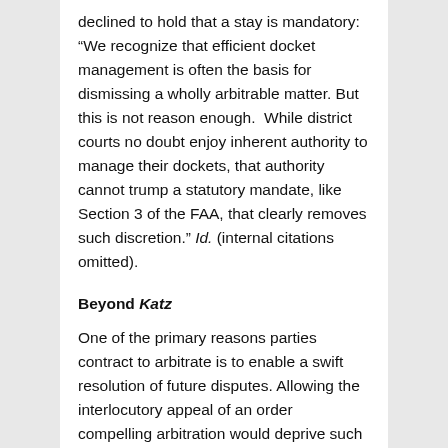declined to hold that a stay is mandatory: “We recognize that efficient docket management is often the basis for dismissing a wholly arbitrable matter. But this is not reason enough. While district courts no doubt enjoy inherent authority to manage their dockets, that authority cannot trump a statutory mandate, like Section 3 of the FAA, that clearly removes such discretion.” Id. (internal citations omitted).
Beyond Katz
One of the primary reasons parties contract to arbitrate is to enable a swift resolution of future disputes. Allowing the interlocutory appeal of an order compelling arbitration would deprive such parties of the benefit of their